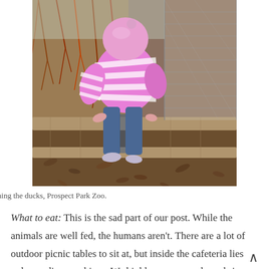[Figure (photo): A young child viewed from above, wearing a pink and white striped sweater and a pink hat, leaning against a wooden fence rail at what appears to be a zoo. The ground is covered with wood chips and dry leaves.]
Cheese watching the ducks, Prospect Park Zoo.
What to eat: This is the sad part of our post. While the animals are well fed, the humans aren't. There are a lot of outdoor picnic tables to sit at, but inside the cafeteria lies only vending machines. We highly recommend you bring your own lunch, or